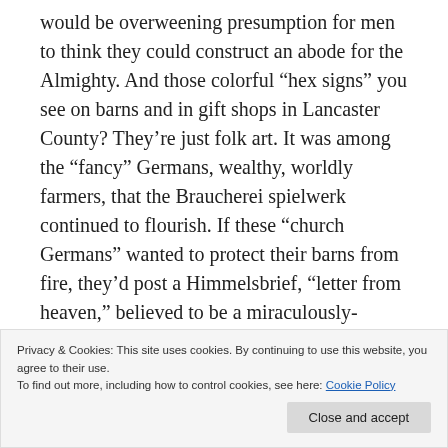would be overweening presumption for men to think they could construct an abode for the Almighty. And those colorful “hex signs” you see on barns and in gift shops in Lancaster County? They’re just folk art. It was among the “fancy” Germans, wealthy, worldly farmers, that the Braucherei spielwerk continued to flourish. If these “church Germans” wanted to protect their barns from fire, they’d post a Himmelsbrief, “letter from heaven,” believed to be a miraculously-appearing sermon, which newspapers in York used to publish broadside as a public service for that very purpose, or
Privacy & Cookies: This site uses cookies. By continuing to use this website, you agree to their use.
To find out more, including how to control cookies, see here: Cookie Policy